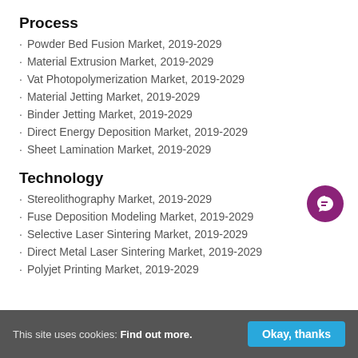Process
Powder Bed Fusion Market, 2019-2029
Material Extrusion Market, 2019-2029
Vat Photopolymerization Market, 2019-2029
Material Jetting Market, 2019-2029
Binder Jetting Market, 2019-2029
Direct Energy Deposition Market, 2019-2029
Sheet Lamination Market, 2019-2029
Technology
Stereolithography Market, 2019-2029
Fuse Deposition Modeling Market, 2019-2029
Selective Laser Sintering Market, 2019-2029
Direct Metal Laser Sintering Market, 2019-2029
Polyjet Printing Market, 2019-2029
This site uses cookies: Find out more. Okay, thanks